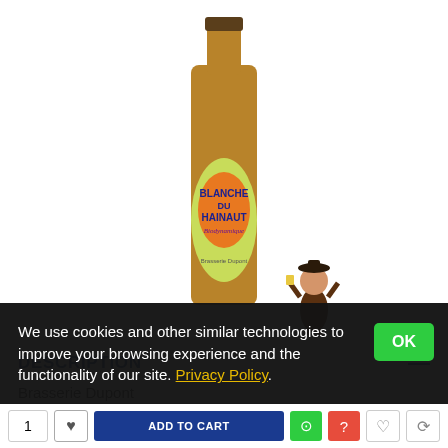[Figure (photo): Beer bottle of Blanche du Hainaut with label showing product name, alongside a small mascot logo reading BIER MAMA]
DESCRIPTION
Brasserie Dupont
We use cookies and other similar technologies to improve your browsing experience and the functionality of our site. Privacy Policy.